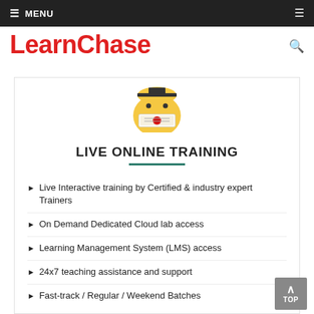≡ MENU
LearnChase
[Figure (illustration): Emoji face with graduation diploma/certificate covering mouth, yellow smiley face with red ribbon medal]
LIVE ONLINE TRAINING
Live Interactive training by Certified & industry expert Trainers
On Demand Dedicated Cloud lab access
Learning Management System (LMS) access
24x7 teaching assistance and support
Fast-track / Regular / Weekend Batches